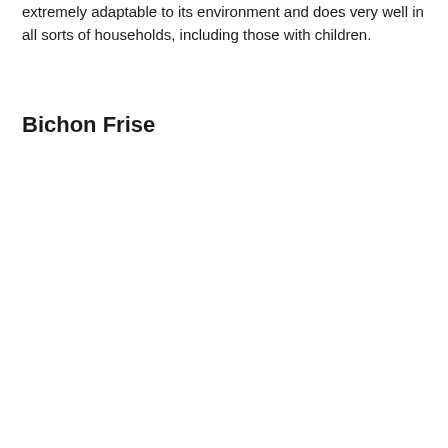extremely adaptable to its environment and does very well in all sorts of households, including those with children.
Bichon Frise